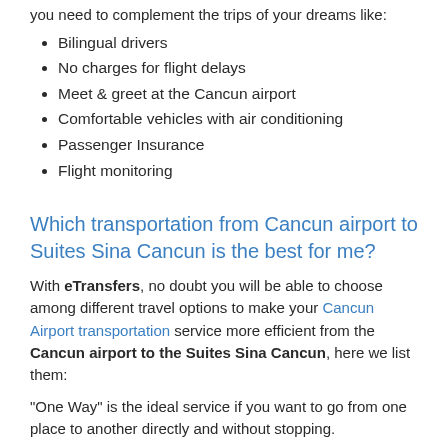you need to complement the trips of your dreams like:
Bilingual drivers
No charges for flight delays
Meet & greet at the Cancun airport
Comfortable vehicles with air conditioning
Passenger Insurance
Flight monitoring
Which transportation from Cancun airport to Suites Sina Cancun is the best for me?
With eTransfers, no doubt you will be able to choose among different travel options to make your Cancun Airport transportation service more efficient from the Cancun airport to the Suites Sina Cancun, here we list them:
"One Way" is the ideal service if you want to go from one place to another directly and without stopping.